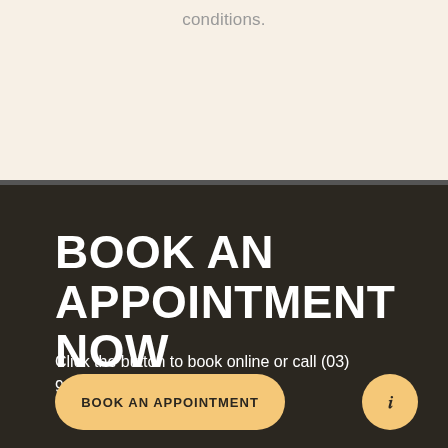conditions.
BOOK AN APPOINTMENT NOW
Click the button to book online or call (03) 9947 1947
BOOK AN APPOINTMENT